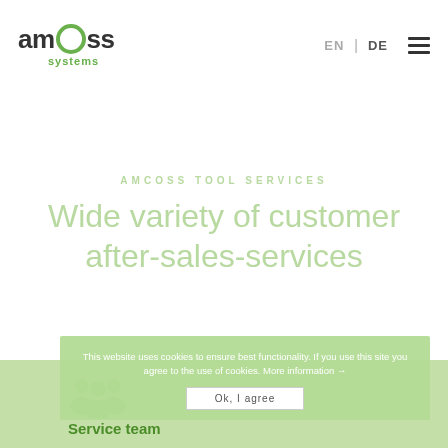[Figure (logo): amcoss systems logo with green circle in the word amcoss and green 'systems' text below]
EN | DE ☰
AMCOSS TOOL SERVICES
Wide variety of customer after-sales-services
This website uses cookies to ensure best functionality. If you use this site you agree to the use of cookies. More information →
Ok, I agree
Service team